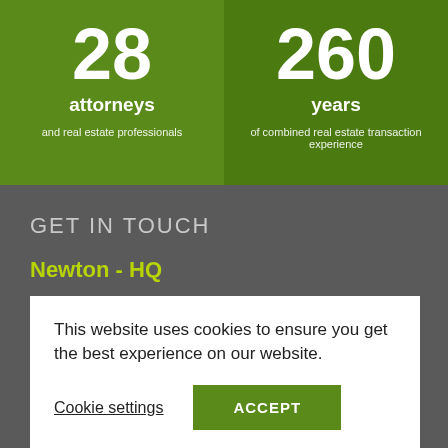28 attorneys and real estate professionals
260 years of combined real estate transaction experience
GET IN TOUCH
Newton - HQ
Boston
Wellesley
This website uses cookies to ensure you get the best experience on our website.
Cookie settings
ACCEPT